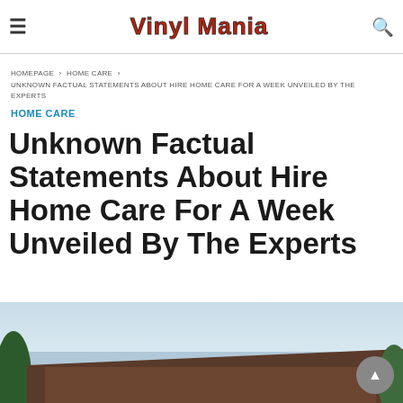Vinyl Mania
HOMEPAGE › HOME CARE › UNKNOWN FACTUAL STATEMENTS ABOUT HIRE HOME CARE FOR A WEEK UNVEILED BY THE EXPERTS
HOME CARE
Unknown Factual Statements About Hire Home Care For A Week Unveiled By The Experts
[Figure (photo): Exterior photo of a house roof with sky and green trees in the background]